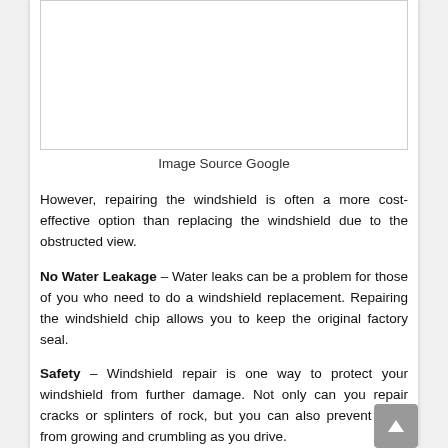[Figure (photo): Blank white image box with border, representing a windshield image from Google]
Image Source Google
However, repairing the windshield is often a more cost-effective option than replacing the windshield due to the obstructed view.
No Water Leakage – Water leaks can be a problem for those of you who need to do a windshield replacement. Repairing the windshield chip allows you to keep the original factory seal.
Safety – Windshield repair is one way to protect your windshield from further damage. Not only can you repair cracks or splinters of rock, but you can also prevent them from growing and crumbling as you drive.